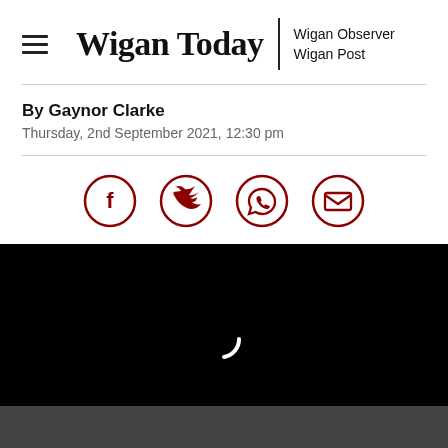Wigan Today | Wigan Observer Wigan Post
By Gaynor Clarke
Thursday, 2nd September 2021, 12:30 pm
[Figure (other): Social share icons: Facebook, Twitter, WhatsApp, Email — circular dark red outlined icons]
[Figure (screenshot): Video player loading screen — black background with a white spinning/loading arc indicator in the center]